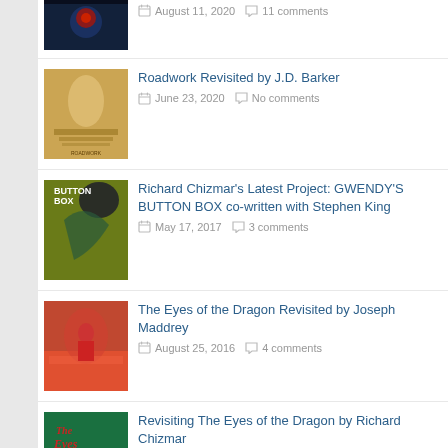August 11, 2020 · 11 comments
Roadwork Revisited by J.D. Barker · June 23, 2020 · No comments
Richard Chizmar's Latest Project: GWENDY'S BUTTON BOX co-written with Stephen King · May 17, 2017 · 3 comments
The Eyes of the Dragon Revisited by Joseph Maddrey · August 25, 2016 · 4 comments
Revisiting The Eyes of the Dragon by Richard Chizmar · June 8, 2016 · 12 comments